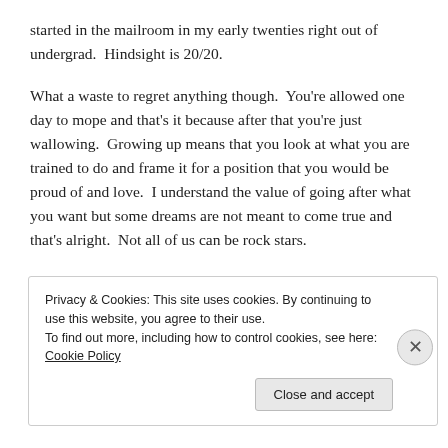started in the mailroom in my early twenties right out of undergrad.  Hindsight is 20/20.
What a waste to regret anything though.  You're allowed one day to mope and that's it because after that you're just wallowing.  Growing up means that you look at what you are trained to do and frame it for a position that you would be proud of and love.  I understand the value of going after what you want but some dreams are not meant to come true and that's alright.  Not all of us can be rock stars.
Privacy & Cookies: This site uses cookies. By continuing to use this website, you agree to their use. To find out more, including how to control cookies, see here: Cookie Policy Close and accept